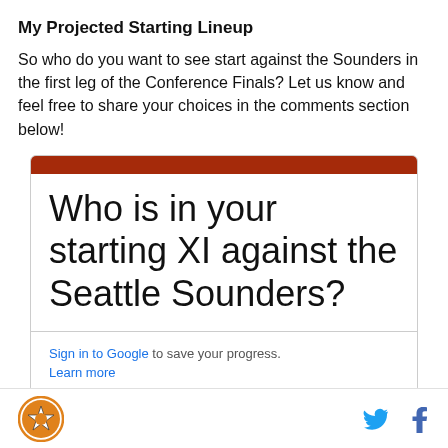My Projected Starting Lineup
So who do you want to see start against the Sounders in the first leg of the Conference Finals? Let us know and feel free to share your choices in the comments section below!
[Figure (other): Poll widget with dark red top bar and question: Who is in your starting XI against the Seattle Sounders?]
Sign in to Google to save your progress.
Learn more
Logo icon | Twitter icon | Facebook icon